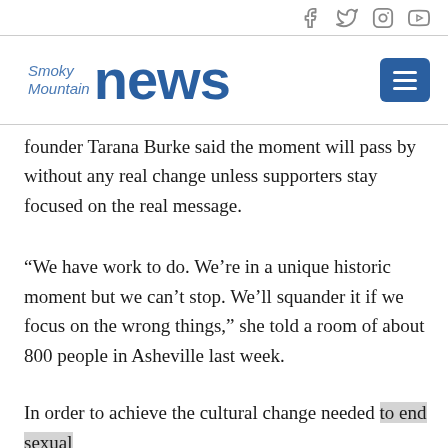Social media icons: Facebook, Twitter, Instagram, YouTube
[Figure (logo): Smoky Mountain News logo with menu button]
founder Tarana Burke said the moment will pass by without any real change unless supporters stay focused on the real message.
“We have work to do. We’re in a unique historic moment but we can’t stop. We’ll squander it if we focus on the wrong things,” she told a room of about 800 people in Asheville last week.
In order to achieve the cultural change needed to end sexual